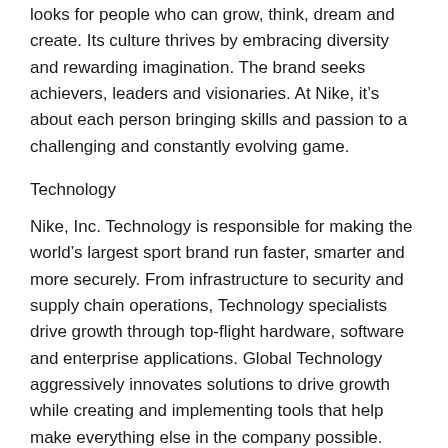looks for people who can grow, think, dream and create. Its culture thrives by embracing diversity and rewarding imagination. The brand seeks achievers, leaders and visionaries. At Nike, it's about each person bringing skills and passion to a challenging and constantly evolving game.
Technology
Nike, Inc. Technology is responsible for making the world's largest sport brand run faster, smarter and more securely. From infrastructure to security and supply chain operations, Technology specialists drive growth through top-flight hardware, software and enterprise applications. Global Technology aggressively innovates solutions to drive growth while creating and implementing tools that help make everything else in the company possible.
Description
Nike is looking for a seasoned engineer who can lead and